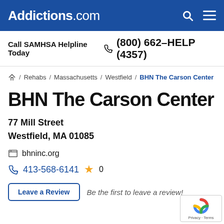Addictions.com
Call SAMHSA Helpline Today (800) 662-HELP (4357)
🏠 / Rehabs / Massachusetts / Westfield / BHN The Carson Center
BHN The Carson Center
77 Mill Street
Westfield, MA 01085
bhninc.org
413-568-6141  ★ 0
Leave a Review  Be the first to leave a review!